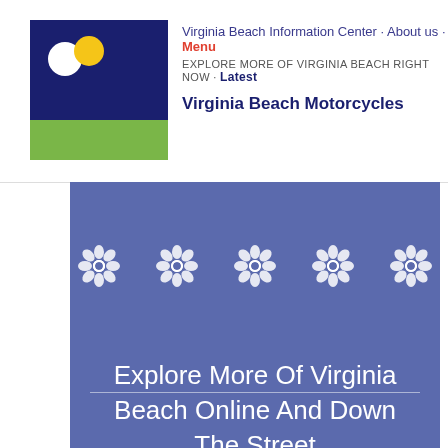Virginia Beach Information Center · About us · Menu
EXPLORE MORE OF VIRGINIA BEACH RIGHT NOW · Latest
Virginia Beach Motorcycles
[Figure (illustration): Five decorative flower/snowflake icons arranged in a row on a blue-purple background]
Explore More Of Virginia Beach Online And Down The Street